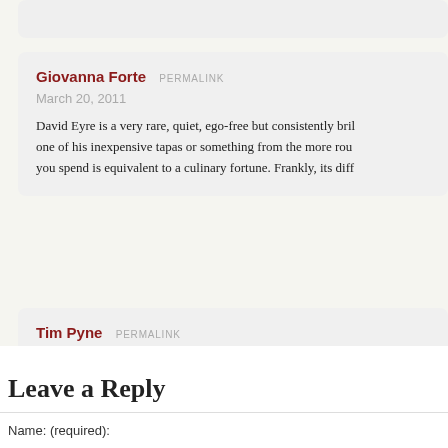[Top comment card - partially visible at top]
Giovanna Forte  PERMALINK
March 20, 2011
David Eyre is a very rare, quiet, ego-free but consistently bri... one of his inexpensive tapas or something from the more rou... you spend is equivalent to a culinary fortune. Frankly, its diff...
Tim Pyne  PERMALINK
November 28, 2016
My friend architect Piers Gough once said that he does feel h... another restaurant, just to try it, but it is always something of...
Leave a Reply
Name: (required):